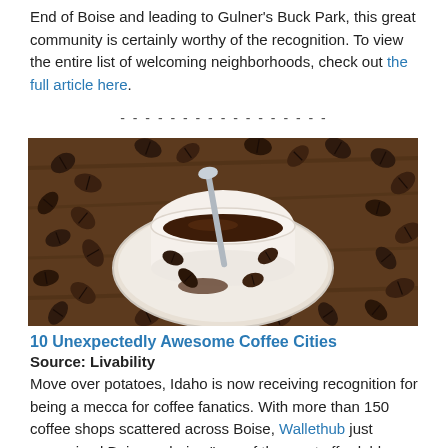End of Boise and leading to Gulner's Buck Park, this great community is certainly worthy of the recognition. To view the entire list of welcoming neighborhoods, check out the full article here.
- - - - - - - - - - - - - - - - -
[Figure (photo): Photo of coffee beans scattered around a white coffee cup with a spoon on a wooden surface.]
10 Unexpectedly Awesome Coffee Cities
Source:  Livability
Move over potatoes, Idaho is now receiving recognition for being a mecca for coffee fanatics.  With more than 150 coffee shops scattered across Boise, Wallethub just recognized Boise as being "one of the most affordable coffee scenes in the country". With many local shops featuring specialty brews or even roasting their own beans, Boise's coffee scene is worth the buzz (pun intended).